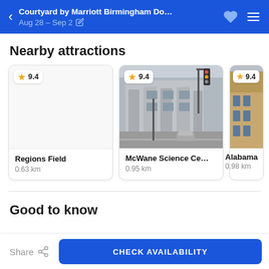Courtyard by Marriott Birmingham Downtow… Aug 28 – Sep 2
Nearby attractions
[Figure (photo): Attraction card for Regions Field with rating 9.4 and placeholder image]
Regions Field
0.63 km
[Figure (photo): Attraction card for McWane Science Center with rating 9.4 and street-level photo of a modern building]
McWane Science Ce…
0.95 km
[Figure (photo): Partially visible attraction card for Alabama [Theatre?] with rating 9.4]
Alabama
0.98 km
Good to know
Share
CHECK AVAILABILITY